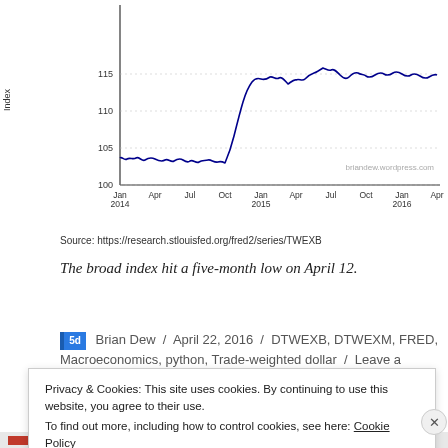[Figure (continuous-plot): Line chart showing the trade-weighted dollar broad index (TWEXB) from Jan 2014 to Apr 2016. Y-axis labeled 'Index' with values 100, 105, 110, 115. X-axis shows dates: Jan 2014, Apr, Jul, Oct, Jan 2015, Apr, Jul, Oct, Jan 2016, Apr. The line starts near 103 in Jan 2014, stays mostly flat through mid-2014, then rises steeply from Oct 2014 to reach around 115-116 by early 2015, remains elevated with some volatility through Apr 2016. Watermark: briandew.wordpress.com]
Source: https://research.stlouisfed.org/fred2/series/TWEXB
The broad index hit a five-month low on April 12.
Brian Dew / April 22, 2016 / DTWEXB, DTWEXM, FRED, Macroeconomics, python, Trade-weighted dollar / Leave a
Privacy & Cookies: This site uses cookies. By continuing to use this website, you agree to their use.
To find out more, including how to control cookies, see here: Cookie Policy